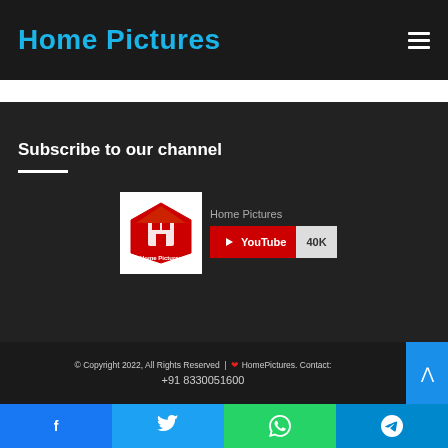Home Pictures
Subscribe to our channel
[Figure (logo): Home Pictures YouTube channel widget with logo and 40K subscriber count button]
© Copyright 2022, All Rights Reserved | ♥ HomePictures. Contact: +91 8330051600